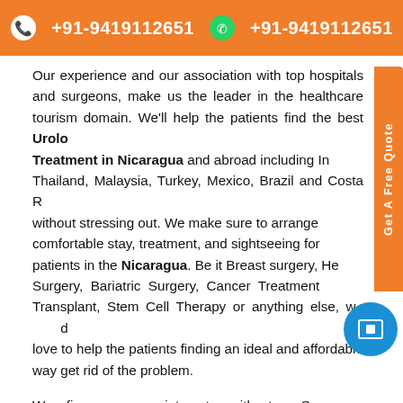+91-9419112651   +91-9419112651
Our experience and our association with top hospitals and surgeons, make us the leader in the healthcare tourism domain. We'll help the patients find the best Urology Treatment in Nicaragua and abroad including India, Thailand, Malaysia, Turkey, Mexico, Brazil and Costa Rica without stressing out. We make sure to arrange comfortable stay, treatment, and sightseeing for patients in the Nicaragua. Be it Breast surgery, Heart Surgery, Bariatric Surgery, Cancer Treatment, Hair Transplant, Stem Cell Therapy or anything else, we would love to help the patients finding an ideal and affordable way get rid of the problem.
We fix your appointments with top Surgeons, Specialists or Doctors in Nicaragua, so, patients coming from different part of the world get the treatment they've been looking for. So, what are you waiting for? Health is important and